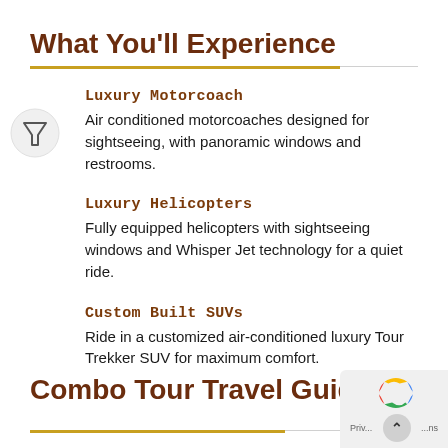What You'll Experience
Luxury Motorcoach
Air conditioned motorcoaches designed for sightseeing, with panoramic windows and restrooms.
Luxury Helicopters
Fully equipped helicopters with sightseeing windows and Whisper Jet technology for a quiet ride.
Custom Built SUVs
Ride in a customized air-conditioned luxury Tour Trekker SUV for maximum comfort.
Combo Tour Travel Guides